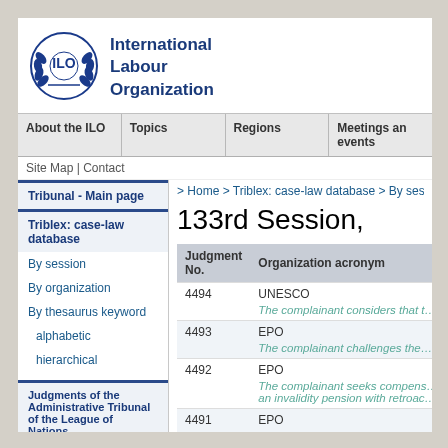[Figure (logo): ILO circular emblem logo with laurel wreath]
International Labour Organization
About the ILO | Topics | Regions | Meetings and events
Site Map | Contact
> Home > Triblex: case-law database > By session
133rd Session,
Tribunal - Main page
Triblex: case-law database
By session
By organization
By thesaurus keyword
alphabetic
hierarchical
Judgments of the Administrative Tribunal of the League of Nations
| Judgment No. | Organization acronym |
| --- | --- |
| 4494 | UNESCO | The complainant considers that t… |
| 4493 | EPO | The complainant challenges the… |
| 4492 | EPO | The complainant seeks compensat… an invalidity pension with retroac… |
| 4491 | EPO | The complainant challenges the… |